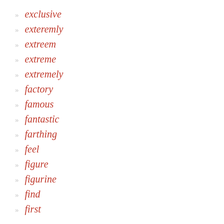exclusive
exteremly
extreem
extreme
extremely
factory
famous
fantastic
farthing
feel
figure
figurine
find
first